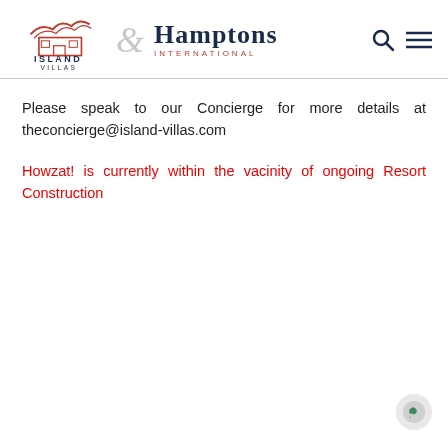[Figure (logo): Island Villas and Hamptons International combined logo with search and menu icons]
Please speak to our Concierge for more details at theconcierge@island-villas.com
Howzat! is currently within the vacinity of ongoing Resort Construction